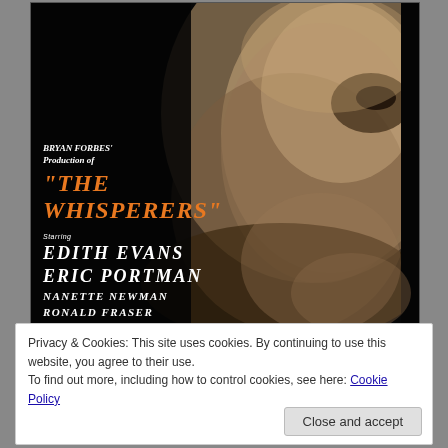[Figure (photo): Movie poster for 'The Whisperers' directed by Bryan Forbes. Dark background with a close-up of an elderly woman's face on the right side. Text on left includes: BRYAN FORBES' Production of, 'THE WHISPERERS', Starring EDITH EVANS, ERIC PORTMAN, NANETTE NEWMAN, RONALD FRASER]
Privacy & Cookies: This site uses cookies. By continuing to use this website, you agree to their use.
To find out more, including how to control cookies, see here: Cookie Policy
Close and accept